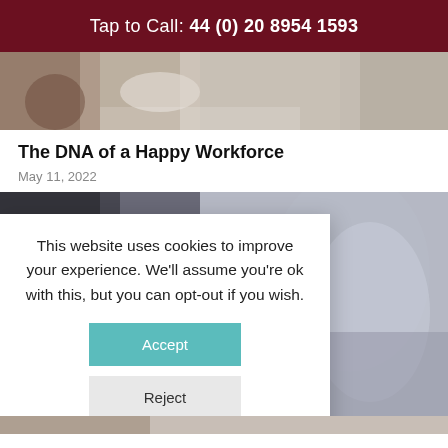Tap to Call: 44 (0) 20 8954 1593
[Figure (photo): People sitting at a table working, with laptops and notebooks visible — office/classroom setting]
The DNA of a Happy Workforce
May 11, 2022
[Figure (photo): Person with dark hair in a light jacket, partially obscured by a cookie consent modal overlay]
This website uses cookies to improve your experience. We'll assume you're ok with this, but you can opt-out if you wish.
Accept
Reject
[Figure (photo): Partial view of another photo at the bottom of the page]